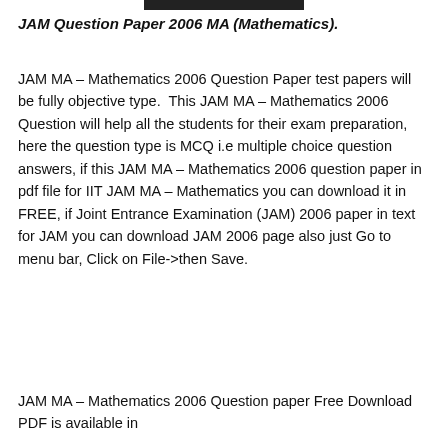JAM Question Paper 2006 MA (Mathematics).
JAM MA – Mathematics 2006 Question Paper test papers will be fully objective type.  This JAM MA – Mathematics 2006 Question will help all the students for their exam preparation, here the question type is MCQ i.e multiple choice question answers, if this JAM MA – Mathematics 2006 question paper in pdf file for IIT JAM MA – Mathematics you can download it in FREE, if Joint Entrance Examination (JAM) 2006 paper in text for JAM you can download JAM 2006 page also just Go to menu bar, Click on File->then Save.
JAM MA – Mathematics 2006 Question paper Free Download PDF is available in